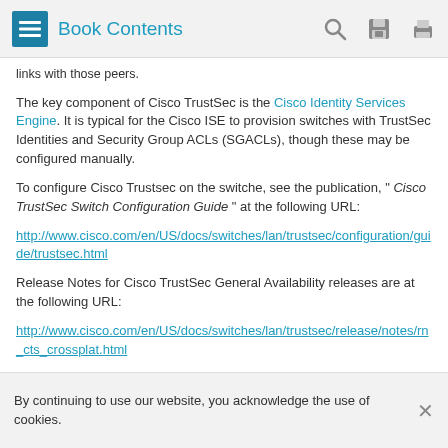Book Contents
links with those peers.
The key component of Cisco TrustSec is the Cisco Identity Services Engine. It is typical for the Cisco ISE to provision switches with TrustSec Identities and Security Group ACLs (SGACLs), though these may be configured manually.
To configure Cisco Trustsec on the switche, see the publication, “ Cisco TrustSec Switch Configuration Guide ” at the following URL:
http://www.cisco.com/en/US/docs/switches/lan/trustsec/configuration/guide/trustsec.html
Release Notes for Cisco TrustSec General Availability releases are at the following URL:
http://www.cisco.com/en/US/docs/switches/lan/trustsec/release/notes/rn_cts_crossplat.html
By continuing to use our website, you acknowledge the use of cookies.